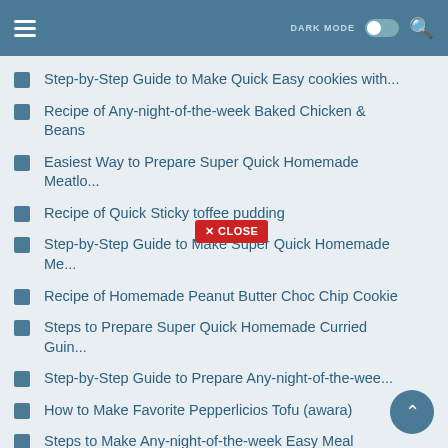DARK MODE [toggle] [search]
Step-by-Step Guide to Make Quick Easy cookies with...
Recipe of Any-night-of-the-week Baked Chicken & Beans
Easiest Way to Prepare Super Quick Homemade Meatlo...
Recipe of Quick Sticky toffee pudding
Step-by-Step Guide to Make Super Quick Homemade Me...
Recipe of Homemade Peanut Butter Choc Chip Cookie
Steps to Prepare Super Quick Homemade Curried Guin...
Step-by-Step Guide to Prepare Any-night-of-the-wee...
How to Make Favorite Pepperlicios Tofu (awara)
Steps to Make Any-night-of-the-week Easy Meal